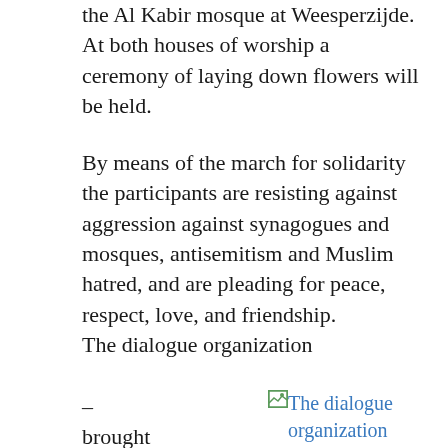the Al Kabir mosque at Weesperzijde. At both houses of worship a ceremony of laying down flowers will be held.
By means of the march for solidarity the participants are resisting against aggression against synagogues and mosques, antisemitism and Muslim hatred, and are pleading for peace, respect, love, and friendship.
The dialogue organization
– brought into
[Figure (illustration): Image placeholder with link text: The dialogue organization Salaam-Shalom – brought into existence last year with the goal of bringing together Jews and Muslims...]